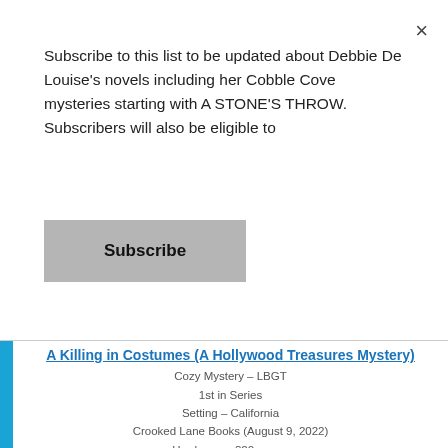Subscribe to this list to be updated about Debbie De Louise's novels including her Cobble Cove mysteries starting with A STONE'S THROW. Subscribers will also be eligible to
Subscribe
×
A Killing in Costumes (A Hollywood Treasures Mystery)
Cozy Mystery – LBGT
1st in Series
Setting – California
Crooked Lane Books (August 9, 2022)
Hardcover : 320 pages
ISBN-10 : 1639100865
ISBN-13 : 978-1639100866
Digital ASIN : B09LH99ZCM